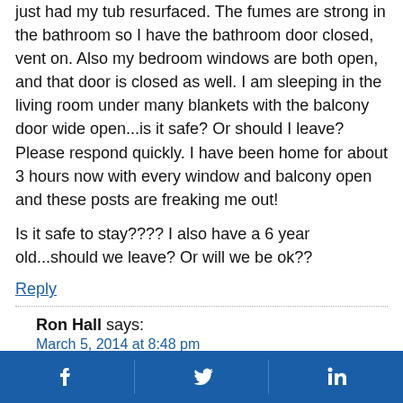just had my tub resurfaced. The fumes are strong in the bathroom so I have the bathroom door closed, vent on. Also my bedroom windows are both open, and that door is closed as well. I am sleeping in the living room under many blankets with the balcony door wide open...is it safe? Or should I leave? Please respond quickly. I have been home for about 3 hours now with every window and balcony open and these posts are freaking me out!
Is it safe to stay???? I also have a 6 year old...should we leave? Or will we be ok??
Reply
Ron Hall says:
March 5, 2014 at 8:48 pm